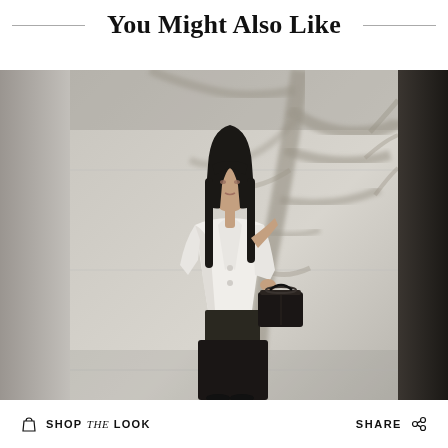You Might Also Like
[Figure (photo): Fashion editorial showing a woman in a white blazer standing against a concrete wall with tree shadows, carrying a black bag. The image is part of a carousel with partial images visible on left and right edges.]
SHOP the LOOK
SHARE